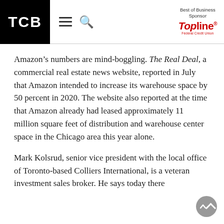TCB | Best of Business Sponsor | TopLine Federal Credit Union
Amazon's numbers are mind-boggling. The Real Deal, a commercial real estate news website, reported in July that Amazon intended to increase its warehouse space by 50 percent in 2020. The website also reported at the time that Amazon already had leased approximately 11 million square feet of distribution and warehouse center space in the Chicago area this year alone.
Mark Kolsrud, senior vice president with the local office of Toronto-based Colliers International, is a veteran investment sales broker. He says today there